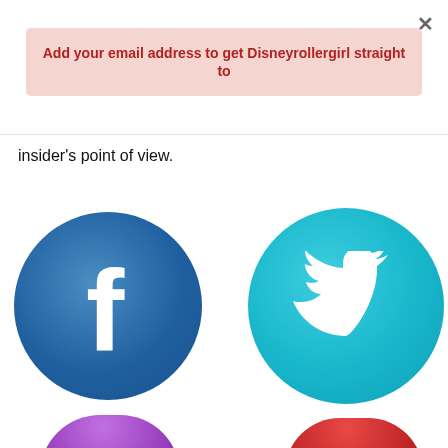×
Add your email address to get Disneyrollergirl straight to
insider's point of view.
[Figure (logo): Facebook circular logo button - blue circle with white lowercase f]
[Figure (logo): Twitter circular logo button - teal circle with white bird icon]
[Figure (logo): Purple circular social media button (partially visible at bottom)]
[Figure (logo): Red circular social media button (partially visible at bottom)]